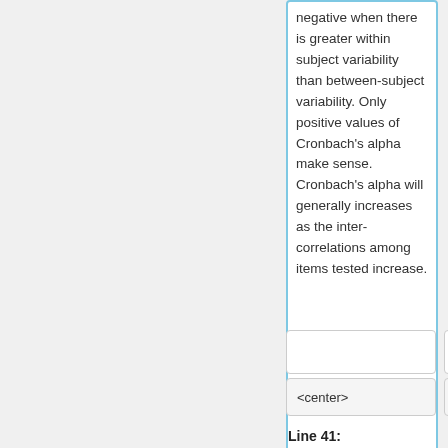negative when there is greater within subject variability than between-subject variability. Only positive values of Cronbach's alpha make sense. Cronbach's alpha will generally increases as the inter-correlations among items tested increase.
<center>
<center>
Line 41:
Line 41: